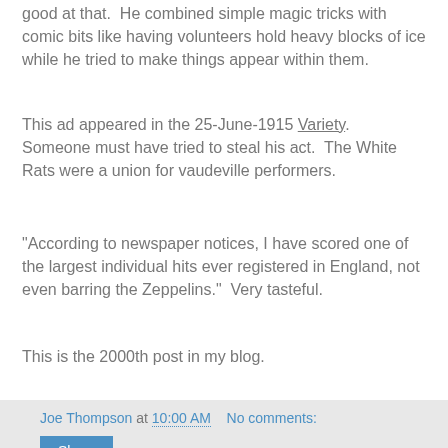good at that.  He combined simple magic tricks with comic bits like having volunteers hold heavy blocks of ice while he tried to make things appear within them.
This ad appeared in the 25-June-1915 Variety.  Someone must have tried to steal his act.  The White Rats were a union for vaudeville performers.
"According to newspaper notices, I have scored one of the largest individual hits ever registered in England, not even barring the Zeppelins."  Very tasteful.
This is the 2000th post in my blog.
Joe Thompson at 10:00 AM   No comments:
Share
Sunday, December 1, 2013
Goodyear Blimp -- Decmber 1, 2013